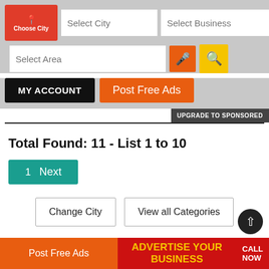[Figure (screenshot): Navigation bar with Choose City button, Select City input, Select Business input, Select Area input, microphone icon button, search icon button]
MY ACCOUNT
Post Free Ads
UPGRADE TO SPONSORED
Total Found: 11 - List 1 to 10
1  Next
Change City
View all Categories
Post Free Ads
ADVERTISE YOUR BUSINESS
CALL NOW